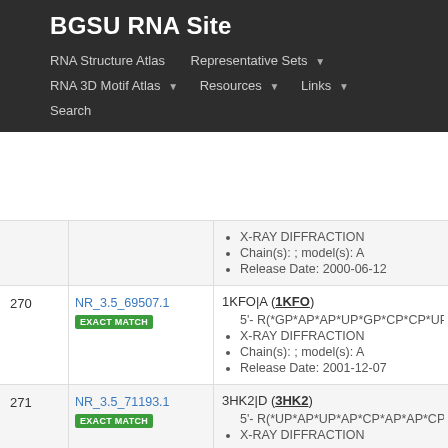BGSU RNA Site
RNA Structure Atlas
Representative Sets
RNA 3D Motif Atlas
Resources
Links
Search
| # | ID | Info |
| --- | --- | --- |
|  |  | X-RAY DIFFRACTION
Chain(s): ; model(s): A
Release Date: 2000-06-12 |
| 270 | NR_3.5_69507.1 EXACT MATCH | 1KFO|A (1KFO)
5'- R(*GP*AP*AP*UP*GP*CP*CP*UP*GP*CP...
X-RAY DIFFRACTION
Chain(s): ; model(s): A
Release Date: 2001-12-07 |
| 271 | NR_3.5_71193.1 EXACT MATCH | 3HK2|D (3HK2)
5'- R(*UP*AP*UP*AP*CP*AP*AP*CP*CP*UP*...
X-RAY DIFFRACTION |